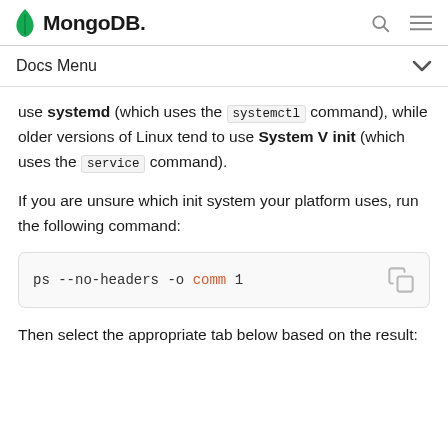MongoDB. [search icon] [menu icon]
Docs Menu
use systemd (which uses the systemctl command), while older versions of Linux tend to use System V init (which uses the service command).
If you are unsure which init system your platform uses, run the following command:
[Figure (screenshot): Code block showing: ps --no-headers -o comm 1]
Then select the appropriate tab below based on the result: